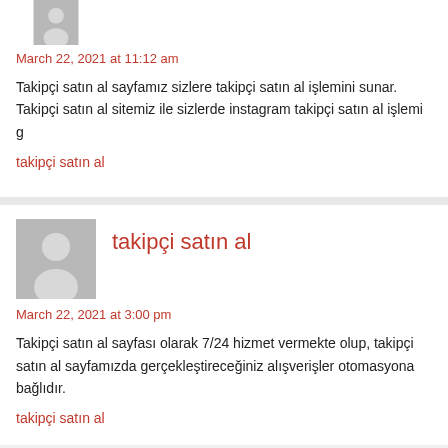[Figure (illustration): Partial avatar icon at top, gray placeholder with person silhouette]
March 22, 2021 at 11:12 am
Takipçi satın al sayfamız sizlere takipçi satın al işlemini sunar. Takipçi satın al sitemiz ile sizlerde instagram takipçi satın al işlemi g
takipçi satın al
[Figure (illustration): Gray avatar placeholder with person silhouette]
takipçi satın al
March 22, 2021 at 3:00 pm
Takipçi satın al sayfası olarak 7/24 hizmet vermekte olup, takipçi satın al sayfamızda gerçekleştireceğiniz alışverişler otomasyona bağlıdır.
takipçi satın al